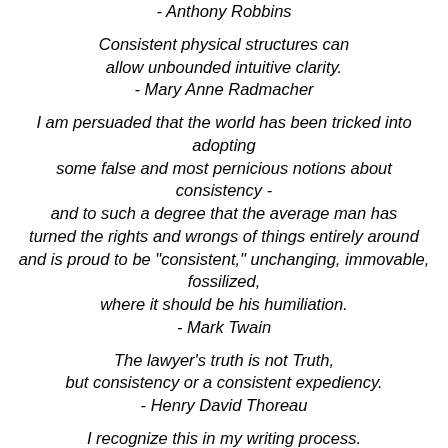- Anthony Robbins
Consistent physical structures can allow unbounded intuitive clarity.
- Mary Anne Radmacher
I am persuaded that the world has been tricked into adopting some false and most pernicious notions about consistency - and to such a degree that the average man has turned the rights and wrongs of things entirely around and is proud to be "consistent," unchanging, immovable, fossilized, where it should be his humiliation.
- Mark Twain
The lawyer's truth is not Truth, but consistency or a consistent expediency.
- Henry David Thoreau
I recognize this in my writing process. A consistent writing structure opens the door to amazing insights. I recognize the truth of this in my daily habits. When I set my keys in the place